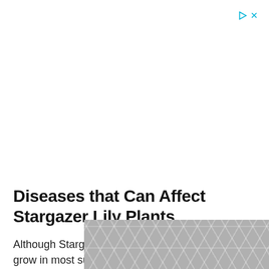[Figure (other): Ad controls: play button triangle and X close button in cyan/teal color, top right corner]
Diseases that Can Affect Stargazer Lily Plants
Although Stargazer lilies are hardy plants that grow in most sunny climates, there are a few diseas...
[Figure (other): Gray hexagonal/geometric pattern advertisement banner at bottom right of page]